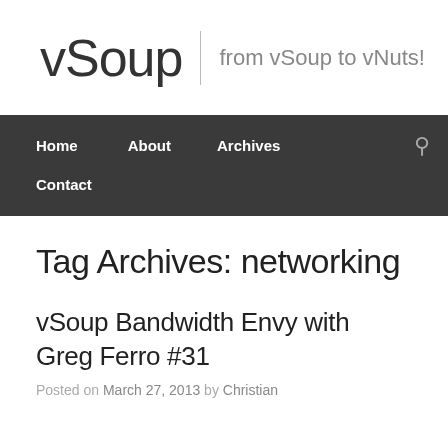vSoup | from vSoup to vNuts!
Home   About   Archives   Contact
Tag Archives: networking
vSoup Bandwidth Envy with Greg Ferro #31
Posted on March 27, 2013 by Christian